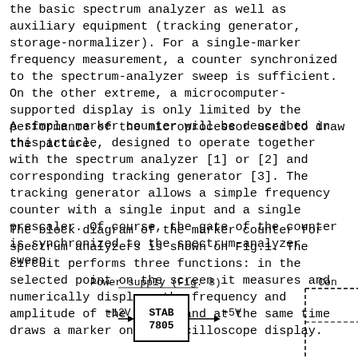the basic spectrum analyzer as well as auxiliary equipment (tracking generator, storage-normalizer). For a single-marker frequency measurement, a counter synchronized to the spectrum-analyzer sweep is sufficient. On the other extreme, a microcomputer-supported display is only limited by the performance of the microprocessor used to draw the picture.
A simple marker counter will be described in this article, designed to operate together with the spectrum analyzer [1] or [2] and corresponding tracking generator [3]. The tracking generator allows a simple frequency counter with a single input and a single prescaler. Of course, the gate of the counter is synchronized to the spectrum-analyzer sweep.
The block diagram of the marker counter for spectrum analyzers is shown on Fig.1. The circuit performs three functions: in the selected point on the screen it measures and numerically displays the frequency and amplitude of the signal and at the same time draws a marker on the oscilloscope display.
[Figure (schematic): Partial block diagram showing Power supply (Fig. 8) with +12V input going into STAB 7805 block, outputting +5V. A partial block labeled 'Con' is visible at the top right with dashed border.]